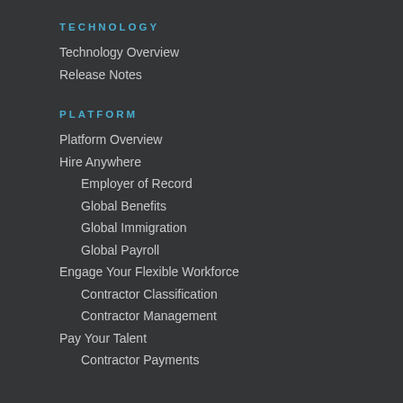TECHNOLOGY
Technology Overview
Release Notes
PLATFORM
Platform Overview
Hire Anywhere
Employer of Record
Global Benefits
Global Immigration
Global Payroll
Engage Your Flexible Workforce
Contractor Classification
Contractor Management
Pay Your Talent
Contractor Payments